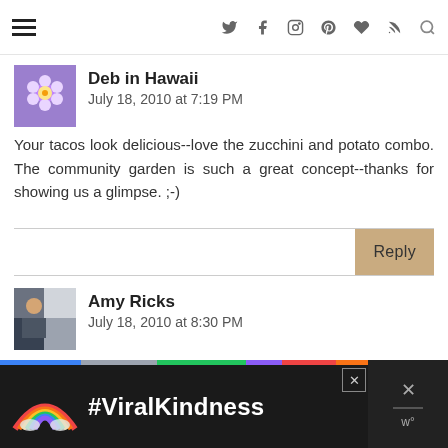Navigation header with hamburger menu and social icons (Twitter, Facebook, Instagram, Pinterest, Bloglovin, RSS, Search)
Deb in Hawaii
July 18, 2010 at 7:19 PM
Your tacos look delicious--love the zucchini and potato combo. The community garden is such a great concept--thanks for showing us a glimpse. ;-)
Amy Ricks
July 18, 2010 at 8:30 PM
Oh my gosh! Now THAT is a taco! I will but dream of homemade corn tortillas. I am afraid the ones from Chicago are as close to homemade that I will come. I love that you are gutsy and talent...
[Figure (infographic): #ViralKindness advertisement banner with rainbow illustration on dark background]